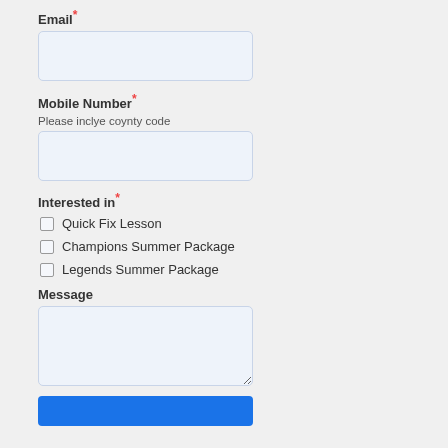Email*
Mobile Number*
Please inclye coynty code
Interested in*
Quick Fix Lesson
Champions Summer Package
Legends Summer Package
Message